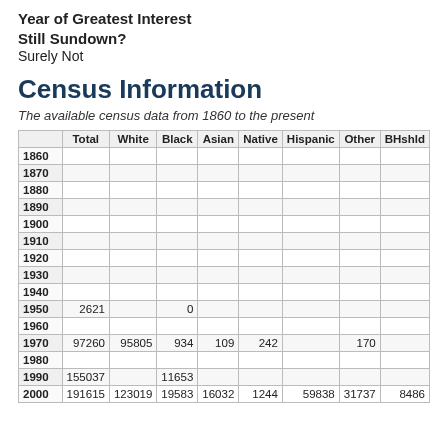Year of Greatest Interest
Still Sundown?
Surely Not
Census Information
The available census data from 1860 to the present
|  | Total | White | Black | Asian | Native | Hispanic | Other | BHshld |
| --- | --- | --- | --- | --- | --- | --- | --- | --- |
| 1860 |  |  |  |  |  |  |  |  |
| 1870 |  |  |  |  |  |  |  |  |
| 1880 |  |  |  |  |  |  |  |  |
| 1890 |  |  |  |  |  |  |  |  |
| 1900 |  |  |  |  |  |  |  |  |
| 1910 |  |  |  |  |  |  |  |  |
| 1920 |  |  |  |  |  |  |  |  |
| 1930 |  |  |  |  |  |  |  |  |
| 1940 |  |  |  |  |  |  |  |  |
| 1950 | 2621 |  | 0 |  |  |  |  |  |
| 1960 |  |  |  |  |  |  |  |  |
| 1970 | 97260 | 95805 | 934 | 109 | 242 |  | 170 |  |
| 1980 |  |  |  |  |  |  |  |  |
| 1990 | 155037 |  | 11653 |  |  |  |  |  |
| 2000 | 191615 | 123019 | 19583 | 16032 | 1244 | 59838 | 31737 | 8486 |